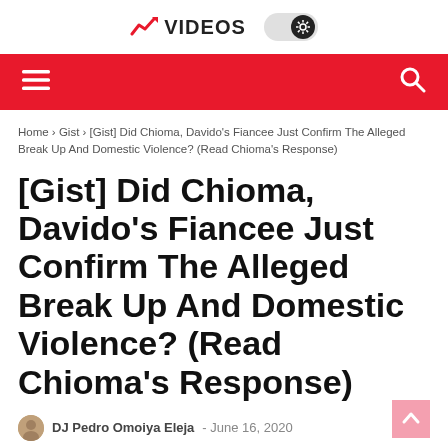VIDEOS
navigation bar with hamburger menu and search icon
Home > Gist > [Gist] Did Chioma, Davido's Fiancee Just Confirm The Alleged Break Up And Domestic Violence? (Read Chioma's Response)
[Gist] Did Chioma, Davido's Fiancee Just Confirm The Alleged Break Up And Domestic Violence? (Read Chioma's Response)
DJ Pedro Omoiya Eleja  -  June 16, 2020